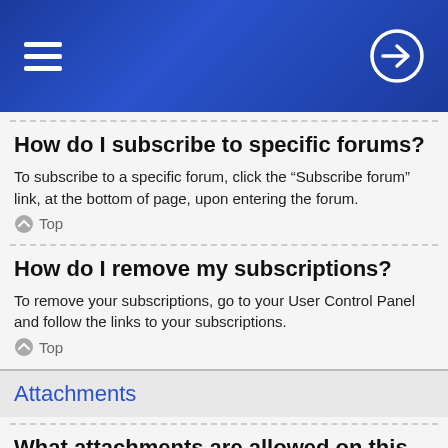Forum FAQ page header with hamburger menu and login icon
How do I subscribe to specific forums?
To subscribe to a specific forum, click the “Subscribe forum” link, at the bottom of page, upon entering the forum.
Top
How do I remove my subscriptions?
To remove your subscriptions, go to your User Control Panel and follow the links to your subscriptions.
Top
Attachments
What attachments are allowed on this board?
Each board administrator can allow or disallow certain attachment types. If you are unsure what is allowed to be uploaded, contact the board